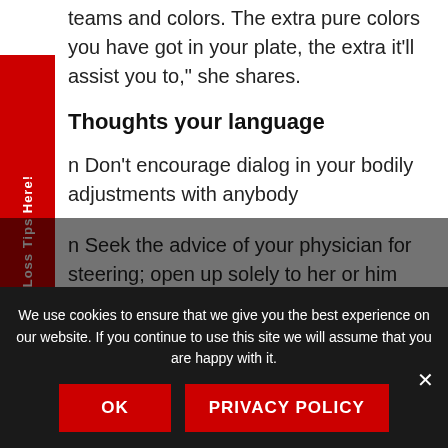teams and colors. The extra pure colors you have got in your plate, the extra it'll assist you to," she shares.
Thoughts your language
n Don't encourage dialog in your bodily adjustments with anybody
n Seek the advice of your physician for steering; open up solely to her or him
n Keep away from small speak in public about
We use cookies to ensure that we give you the best experience on our website. If you continue to use this site we will assume that you are happy with it.
OK
PRIVACY POLICY